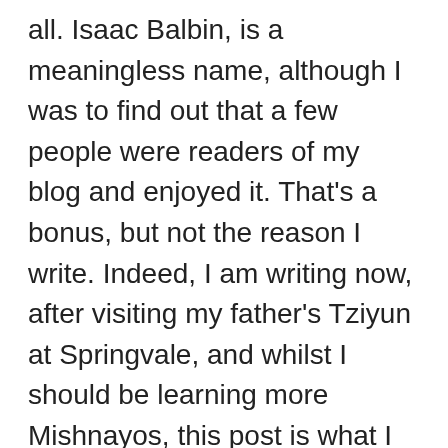all. Isaac Balbin, is a meaningless name, although I was to find out that a few people were readers of my blog and enjoyed it. That's a bonus, but not the reason I write. Indeed, I am writing now, after visiting my father's Tziyun at Springvale, and whilst I should be learning more Mishnayos, this post is what I am capable of doing at the minute  in my state of mind.
I continued returning to this Minyan later for Mincha etc. It seems it isn't